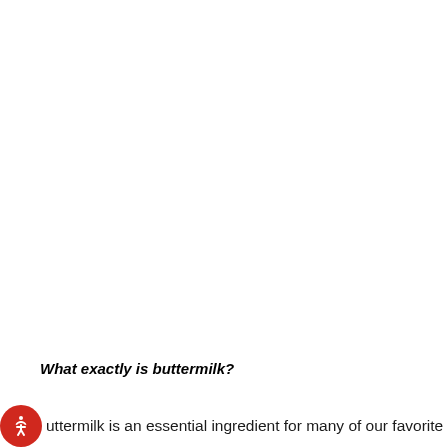What exactly is buttermilk?
uttermilk is an essential ingredient for many of our favorite